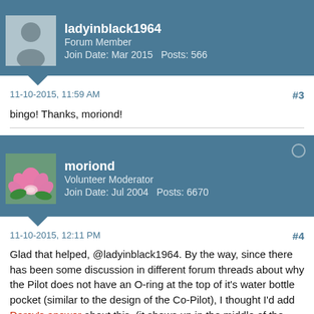[Figure (screenshot): Forum post header for user ladyinblack1964, Forum Member, Join Date: Mar 2015, Posts: 566, with silhouette avatar on teal background]
11-10-2015, 11:59 AM    #3
bingo! Thanks, moriond!
[Figure (screenshot): Forum post header for user moriond, Volunteer Moderator, Join Date: Jul 2004, Posts: 6670, with lotus flower avatar on teal background]
11-10-2015, 12:11 PM    #4
Glad that helped, @ladyinblack1964. By the way, since there has been some discussion in different forum threads about why the Pilot does not have an O-ring at the top of it's water bottle pocket (similar to the design of the Co-Pilot), I thought I'd add Darcy's answer about this. (it shows up in the middle of the extremely long The New Pilot Available for Pre-Order in January 2014 thread, in response to @Trailhiker's post titled The Case of the